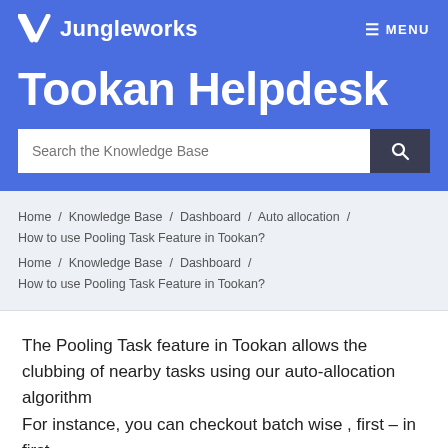Jungleworks   MENU
Tookan Helpdesk
Search the Knowledge Base
Home / Knowledge Base / Dashboard / Auto allocation / How to use Pooling Task Feature in Tookan?
Home / Knowledge Base / Dashboard /
How to use Pooling Task Feature in Tookan?
The Pooling Task feature in Tookan allows the clubbing of nearby tasks using our auto-allocation algorithm
For instance, you can checkout batch wise , first – in first -